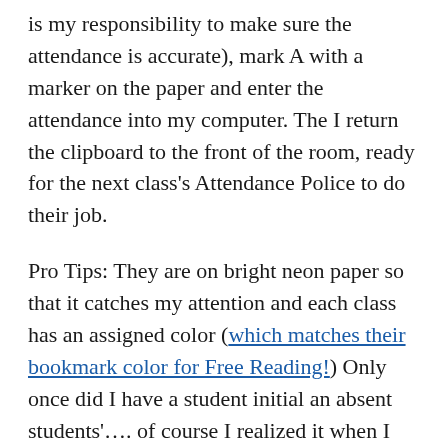is my responsibility to make sure the attendance is accurate), mark A with a marker on the paper and enter the attendance into my computer. The I return the clipboard to the front of the room, ready for the next class's Attendance Police to do their job.
Pro Tips: They are on bright neon paper so that it catches my attention and each class has an assigned color (which matches their bookmark color for Free Reading!) Only once did I have a student initial an absent students'.... of course I realized it when I was entering attendance because there were more empty seats than absent students. As